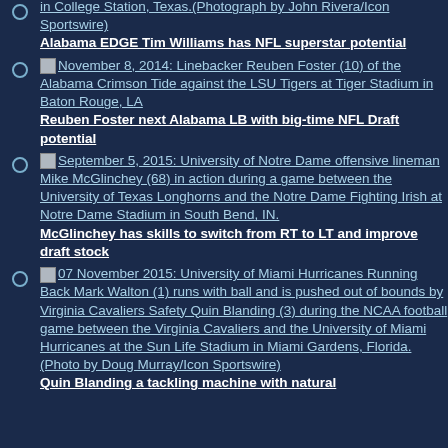in College Station, Texas.(Photograph by John Rivera/Icon Sportswire)
Alabama EDGE Tim Williams has NFL superstar potential
November 8, 2014: Linebacker Reuben Foster (10) of the Alabama Crimson Tide against the LSU Tigers at Tiger Stadium in Baton Rouge, LA
Reuben Foster next Alabama LB with big-time NFL Draft potential
September 5, 2015: University of Notre Dame offensive lineman Mike McGlinchey (68) in action during a game between the University of Texas Longhorns and the Notre Dame Fighting Irish at Notre Dame Stadium in South Bend, IN.
McGlinchey has skills to switch from RT to LT and improve draft stock
07 November 2015: University of Miami Hurricanes Running Back Mark Walton (1) runs with ball and is pushed out of bounds by Virginia Cavaliers Safety Quin Blanding (3) during the NCAA football game between the Virginia Cavaliers and the University of Miami Hurricanes at the Sun Life Stadium in Miami Gardens, Florida. (Photo by Doug Murray/Icon Sportswire)
Quin Blanding a tackling machine with natural